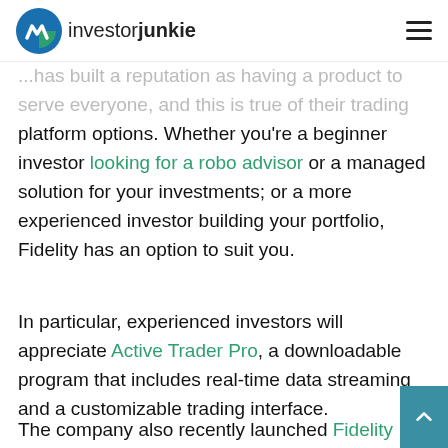investorjunkie
...has built a reputation as having a product to serve everyone, and this is true of their trading platform options. Whether you're a beginner investor looking for a robo advisor or a managed solution for your investments; or a more experienced investor building your portfolio, Fidelity has an option to suit you.
In particular, experienced investors will appreciate Active Trader Pro, a downloadable program that includes real-time data streaming and a customizable trading interface.
The company also recently launched Fidelity Solo 401(k)...